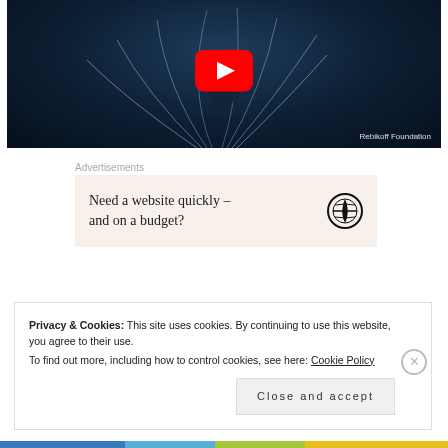[Figure (screenshot): YouTube video thumbnail showing a deep-sea creature with tentacles on a dark blue background, with a red YouTube play button in the center. Watermark reads 'Rebikoff Foundation'.]
Advertisements
[Figure (infographic): Advertisement box with beige background. Text: 'Need a website quickly – and on a budget?' with WordPress logo on the right.]
Privacy & Cookies: This site uses cookies. By continuing to use this website, you agree to their use.
To find out more, including how to control cookies, see here: Cookie Policy
Close and accept